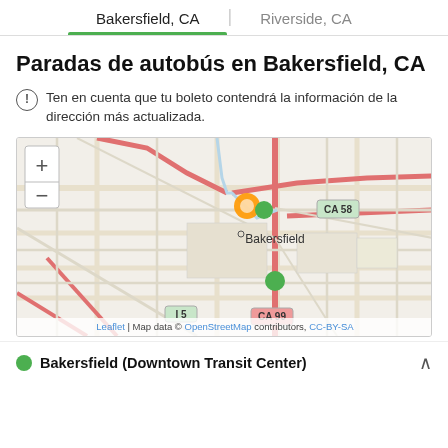Bakersfield, CA | Riverside, CA
Paradas de autobús en Bakersfield, CA
Ten en cuenta que tu boleto contendrá la información de la dirección más actualizada.
[Figure (map): Map of Bakersfield, CA showing bus stop locations. Orange and green markers near downtown Bakersfield. Road CA 58 visible to the east, I 5 to the west, CA 99 at the bottom center. Map data from OpenStreetMap.]
Leaflet | Map data © OpenStreetMap contributors, CC-BY-SA
Bakersfield (Downtown Transit Center)